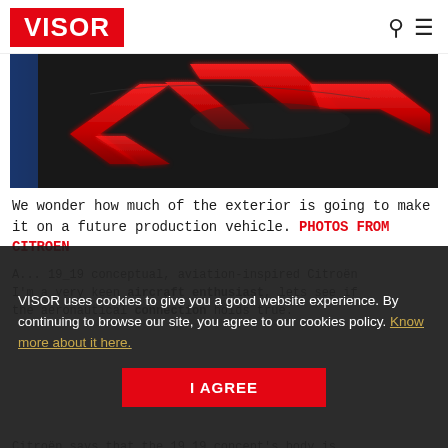VISOR
[Figure (photo): Close-up of a red illuminated Citroën chevron logo on dark background with blue accent on the left edge]
We wonder how much of the exterior is going to make it on a future production vehicle. PHOTOS FROM CITROEN
VISOR uses cookies to give you a good website experience. By continuing to browse our site, you agree to our cookies policy. Know more about it here. I AGREE
A... 19_19 conceptual, aviation-inspired Citroen I'm a very keen aircraft enthusiast, lets see if the aeronautical connection holds true.
Citroën says that the 19_19 concept's body is...